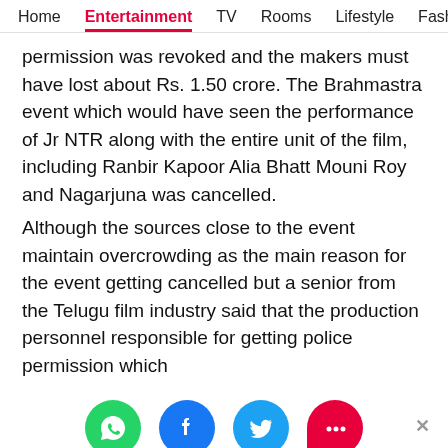Home  Entertainment  TV  Rooms  Lifestyle  Fash
permission was revoked and the makers must have lost about Rs. 1.50 crore. The Brahmastra event which would have seen the performance of Jr NTR along with the entire unit of the film, including Ranbir Kapoor Alia Bhatt Mouni Roy and Nagarjuna was cancelled.
Although the sources close to the event maintain overcrowding as the main reason for the event getting cancelled but a senior from the Telugu film industry said that the production personnel responsible for getting police permission which
[Figure (infographic): Social share icons row: WhatsApp (green circle), Facebook (blue circle), Twitter (blue circle), Chat/More (pink/red speech bubble). Close X button on the right.]
[Figure (infographic): Lidl advertisement banner with play/close arrows on left, Lidl logo, checkmark and text 'In-store shopping', and a blue navigation arrow on the right.]